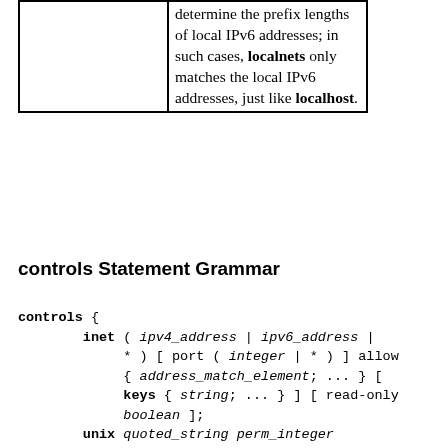|  | determine the prefix lengths of local IPv6 addresses; in such cases, localnets only matches the local IPv6 addresses, just like localhost. |
controls Statement Grammar
controls {
        inet ( ipv4_address | ipv6_address |
             * ) [ port ( integer | * ) ] allow
             { address_match_element; ... } [
             keys { string; ... } ] [ read-only
             boolean ];
        unix quoted_string perm_integer